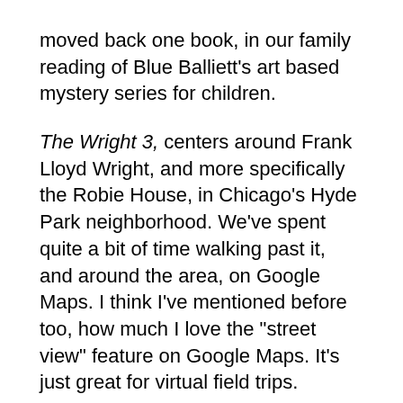moved back one book, in our family reading of Blue Balliett's art based mystery series for children.
The Wright 3, centers around Frank Lloyd Wright, and more specifically the Robie House, in Chicago's Hyde Park neighborhood. We've spent quite a bit of time walking past it, and around the area, on Google Maps. I think I've mentioned before too, how much I love the "street view" feature on Google Maps. It's just great for virtual field trips.
We've also been learning about the architect from a number of sources (more on these later)...